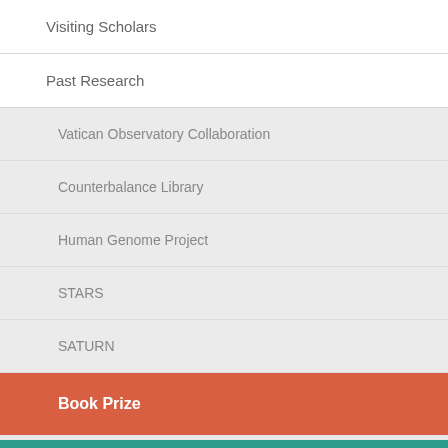Visiting Scholars
Past Research
Vatican Observatory Collaboration
Counterbalance Library
Human Genome Project
STARS
SATURN
Book Prize